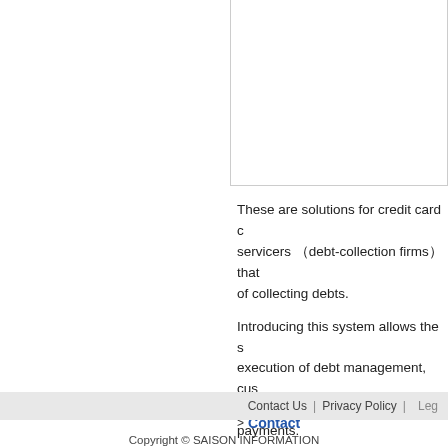These are solutions for credit card c servicers （debt-collection firms） that of collecting debts. Introducing this system allows the s execution of debt management, cus management and the management payments.
> Contact
Contact Us  |  Privacy Policy  |  Leg
Copyright © SAISON INFORMATION